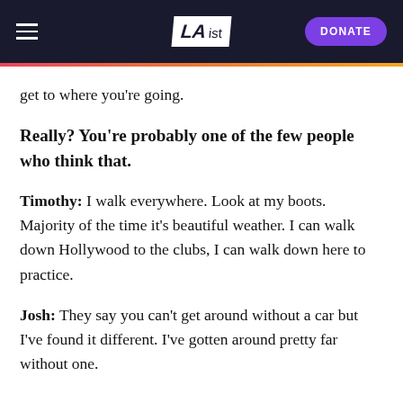LAist | DONATE
get to where you're going.
Really? You're probably one of the few people who think that.
Timothy: I walk everywhere. Look at my boots. Majority of the time it's beautiful weather. I can walk down Hollywood to the clubs, I can walk down here to practice.
Josh: They say you can't get around without a car but I've found it different. I've gotten around pretty far without one.